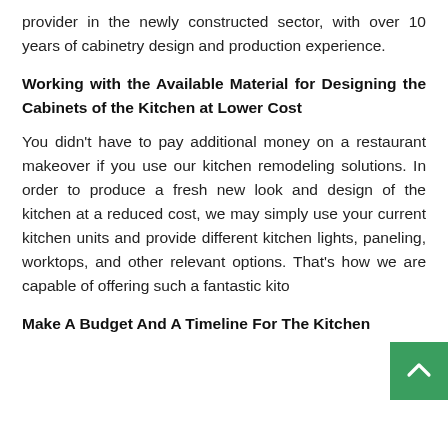provider in the newly constructed sector, with over 10 years of cabinetry design and production experience.
Working with the Available Material for Designing the Cabinets of the Kitchen at Lower Cost
You didn't have to pay additional money on a restaurant makeover if you use our kitchen remodeling solutions. In order to produce a fresh new look and design of the kitchen at a reduced cost, we may simply use your current kitchen units and provide different kitchen lights, paneling, worktops, and other relevant options. That's how we are capable of offering such a fantastic kito
Make A Budget And A Timeline For The Kitchen